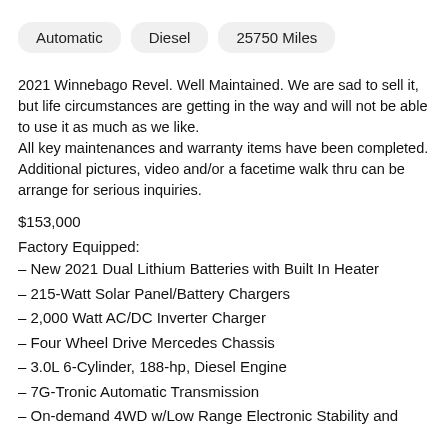Automatic
Diesel
25750 Miles
2021 Winnebago Revel. Well Maintained. We are sad to sell it, but life circumstances are getting in the way and will not be able to use it as much as we like.
All key maintenances and warranty items have been completed. Additional pictures, video and/or a facetime walk thru can be arrange for serious inquiries.
$153,000
Factory Equipped:
– New 2021 Dual Lithium Batteries with Built In Heater
– 215-Watt Solar Panel/Battery Chargers
– 2,000 Watt AC/DC Inverter Charger
– Four Wheel Drive Mercedes Chassis
– 3.0L 6-Cylinder, 188-hp, Diesel Engine
– 7G-Tronic Automatic Transmission
– On-demand 4WD w/Low Range Electronic Stability and